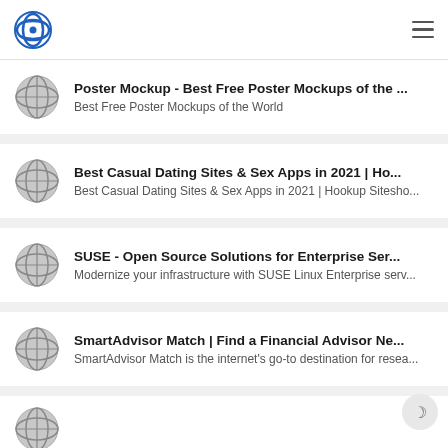Poster Mockup - Best Free Poster Mockups of the ...
Best Free Poster Mockups of the World
Best Casual Dating Sites & Sex Apps in 2021 | Ho...
Best Casual Dating Sites & Sex Apps in 2021 | Hookup Sitesho...
SUSE - Open Source Solutions for Enterprise Ser...
Modernize your infrastructure with SUSE Linux Enterprise serv...
SmartAdvisor Match | Find a Financial Advisor Ne...
SmartAdvisor Match is the internet's go-to destination for resea...